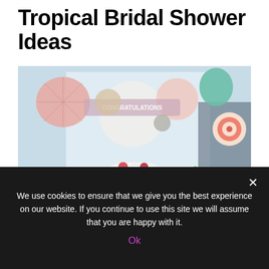Tropical Bridal Shower Ideas
[Figure (photo): A bridal shower dessert table decorated with tropical elements including pineapples, layered cakes, cupcakes, donuts, paper fan decorations, balloons spelling CONGRATULATIONS, and honeycomb decorations in pink, white and green.]
We use cookies to ensure that we give you the best experience on our website. If you continue to use this site we will assume that you are happy with it.
Ok